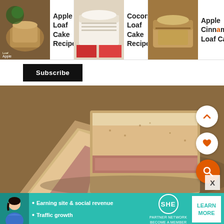[Figure (photo): Apple Loaf Cake Recipe thumbnail]
Apple Loaf Cake Recipe
[Figure (photo): Coconut Loaf Cake Recipe thumbnail]
Coconut Loaf Cake Recipe
[Figure (photo): Apple Cinnamon Loaf Cake thumbnail]
Apple Cinnamon Loaf Cake
Subscribe
[Figure (photo): Close-up photo of sliced loaf cake with crumbly topping on a decorative plate]
• Earning site & social revenue
• Traffic growth
SHE PARTNER NETWORK BECOME A MEMBER
LEARN MORE